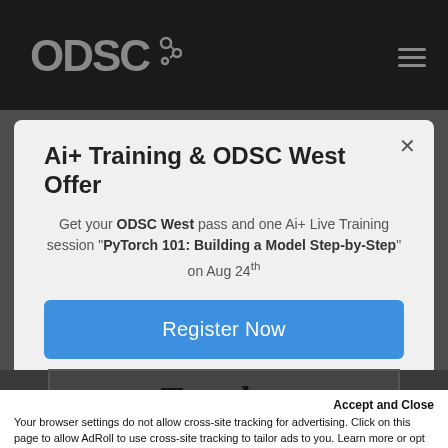[Figure (logo): ODSC logo in dark navigation bar with hamburger menu icon]
Ai+ Training & ODSC West Offer
Get your ODSC West pass and one Ai+ Live Training session "PyTorch 101: Building a Model Step-by-Step" on Aug 24th
Register Now
Tuesday
Accept and Close
Your browser settings do not allow cross-site tracking for advertising. Click on this page to allow AdRoll to use cross-site tracking to tailor ads to you. Learn more or opt out of this AdRoll tracking by clicking here. This message only appears once.